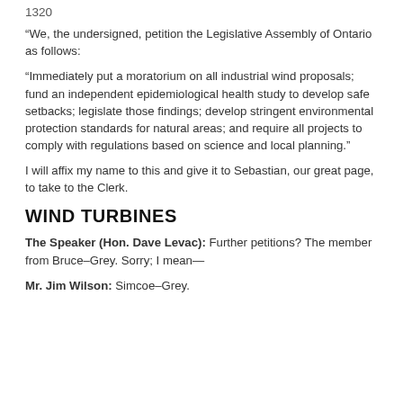1320
“We, the undersigned, petition the Legislative Assembly of Ontario as follows:
“Immediately put a moratorium on all industrial wind proposals; fund an independent epidemiological health study to develop safe setbacks; legislate those findings; develop stringent environmental protection standards for natural areas; and require all projects to comply with regulations based on science and local planning.”
I will affix my name to this and give it to Sebastian, our great page, to take to the Clerk.
WIND TURBINES
The Speaker (Hon. Dave Levac): Further petitions? The member from Bruce–Grey. Sorry; I mean—
Mr. Jim Wilson: Simcoe–Grey.